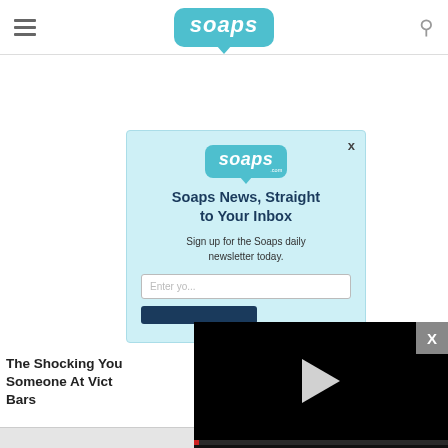soaps.com
[Figure (screenshot): Email newsletter signup modal popup for Soaps.com with logo, headline 'Soaps News, Straight to Your Inbox', subtitle 'Sign up for the Soaps daily newsletter today.', email input field, and subscribe button]
The Shocking You Someone At Vict Bars
Soaps.com
[Figure (screenshot): Black video player overlay with play button in center, progress bar, and controls showing volume icon, 00:00 timestamp, grid icon, settings gear icon, and expand icon. X close button top right.]